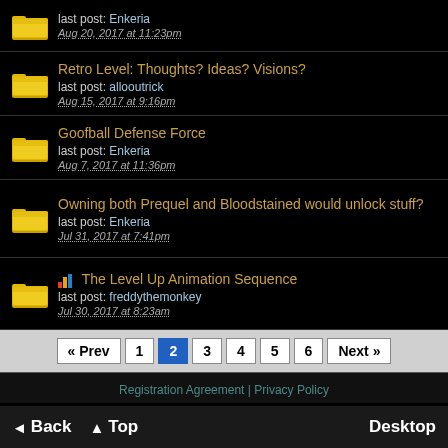last post: Enkeria
Aug 20, 2017 at 11:23pm
Retro Level: Thoughts? Ideas? Visions?
last post: allooutrick
Aug 15, 2017 at 9:16pm
Goofball Defense Force
last post: Enkeria
Aug 7, 2017 at 11:36pm
Owning both Prequel and Bloodstained would unlock stuff?
last post: Enkeria
Jul 31, 2017 at 7:41pm
The Level Up Animation Sequence
last post: freddythemonkey
Jul 30, 2017 at 8:23am
« Prev  1  2  3  4  5  6  Next »
Registration Agreement | Privacy Policy
◄ Back  ▲ Top  Desktop